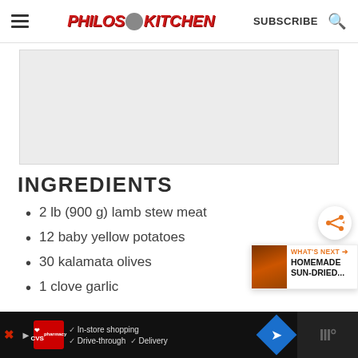PHILOS KITCHEN | SUBSCRIBE
[Figure (photo): Recipe image placeholder area, light gray background]
INGREDIENTS
2 lb (900 g) lamb stew meat
12 baby yellow potatoes
30 kalamata olives
1 clove garlic
[Figure (screenshot): CVS pharmacy advertisement bar at bottom of page with in-store shopping, drive-through, and delivery options]
[Figure (other): What's Next panel showing Homemade Sun-Dried... teaser with share button]